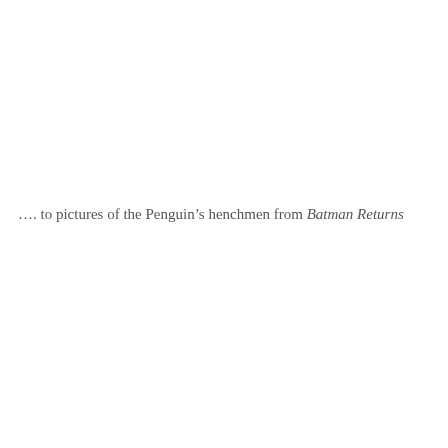…. to pictures of the Penguin's henchmen from Batman Returns